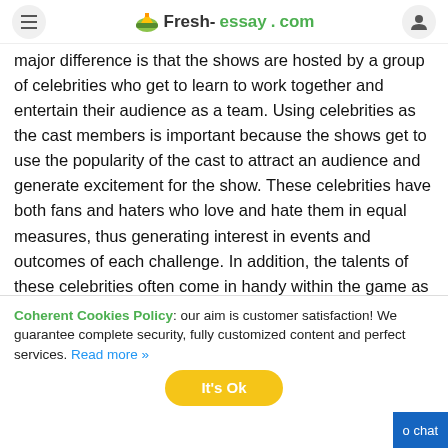Fresh-essay.com
major difference is that the shows are hosted by a group of celebrities who get to learn to work together and entertain their audience as a team. Using celebrities as the cast members is important because the shows get to use the popularity of the cast to attract an audience and generate excitement for the show. These celebrities have both fans and haters who love and hate them in equal measures, thus generating interest in events and outcomes of each challenge. In addition, the talents of these celebrities often come in handy within the game as they get to make people laugh and use their skills and experience in solving challenges that they are presented with.
Coherent Cookies Policy: our aim is customer satisfaction! We guarantee complete security, fully customized content and perfect services. Read more »